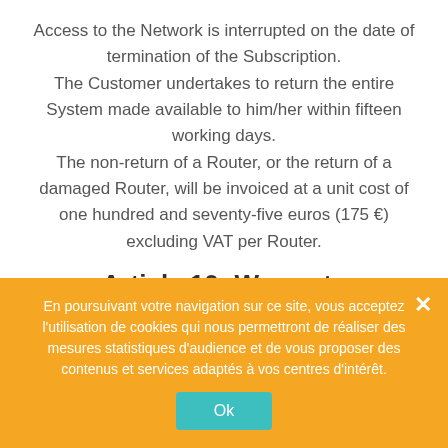Access to the Network is interrupted on the date of termination of the Subscription. The Customer undertakes to return the entire System made available to him/her within fifteen working days. The non-return of a Router, or the return of a damaged Router, will be invoiced at a unit cost of one hundred and seventy-five euros (175 €) excluding VAT per Router.
Article 10: Warranty
En poursuivant votre navigation sur ce site, vous acceptez l'utilisation de cookies qui nous permettront de réaliser des mesures statistiques d'audience et de vous proposer des contenus et services adaptés à vos centres d'intérêt.